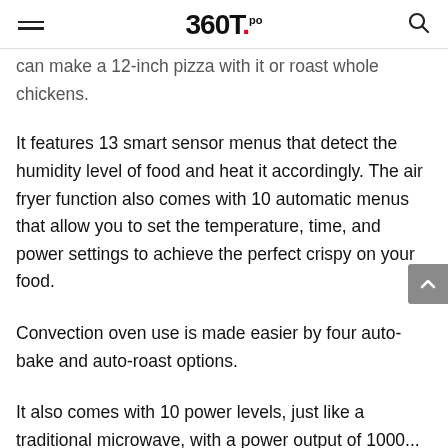360T.pro
can make a 12-inch pizza with it or roast whole chickens.
It features 13 smart sensor menus that detect the humidity level of food and heat it accordingly. The air fryer function also comes with 10 automatic menus that allow you to set the temperature, time, and power settings to achieve the perfect crispy on your food.
Convection oven use is made easier by four auto-bake and auto-roast options.
It also comes with 10 power levels, just like a traditional microwave, with a power output of 1000...